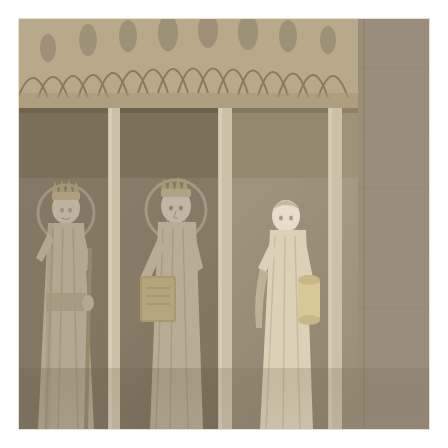[Figure (photo): Photograph of three stone Gothic statues on the facade of a cathedral (Notre-Dame de Paris). The statues depict crowned and robed figures: on the left, a queen or female saint with a crown and halo holding a scepter and sword; in the center, a bearded king with a crown and halo holding a scroll and book; on the right, a bearded male saint holding a scroll. Above the figures are ornate Gothic architectural elements including arches, columns, and elaborate stone carvings. The stone is pale beige/cream in color.]